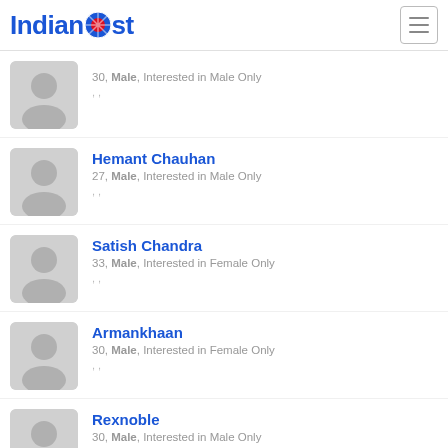IndianDost
30, Male, Interested in Male Only
Hemant Chauhan
27, Male, Interested in Male Only
Satish Chandra
33, Male, Interested in Female Only
Armankhaan
30, Male, Interested in Female Only
Rexnoble
30, Male, Interested in Male Only